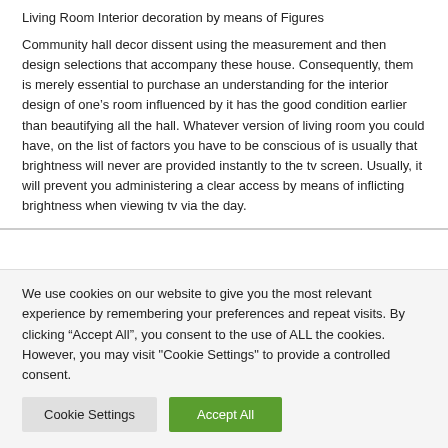Living Room Interior decoration by means of Figures
Community hall decor dissent using the measurement and then design selections that accompany these house. Consequently, them is merely essential to purchase an understanding for the interior design of one’s room influenced by it has the good condition earlier than beautifying all the hall. Whatever version of living room you could have, on the list of factors you have to be conscious of is usually that brightness will never are provided instantly to the tv screen. Usually, it will prevent you administering a clear access by means of inflicting brightness when viewing tv via the day.
We use cookies on our website to give you the most relevant experience by remembering your preferences and repeat visits. By clicking “Accept All”, you consent to the use of ALL the cookies. However, you may visit "Cookie Settings" to provide a controlled consent.